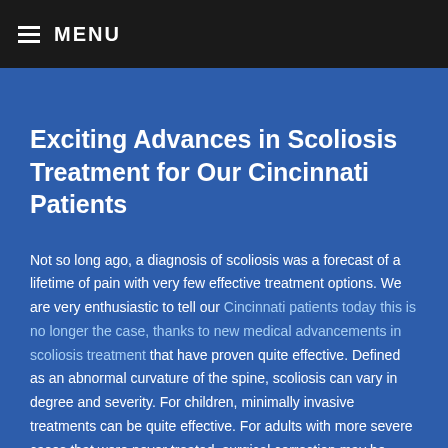MENU
Exciting Advances in Scoliosis Treatment for Our Cincinnati Patients
Not so long ago, a diagnosis of scoliosis was a forecast of a lifetime of pain with very few effective treatment options. We are very enthusiastic to tell our Cincinnati patients today this is no longer the case, thanks to new medical advancements in scoliosis treatment that have proven quite effective. Defined as an abnormal curvature of the spine, scoliosis can vary in degree and severity. For children, minimally invasive treatments can be quite effective. For adults with more severe cases that were never treated, surgical correction may be necessary. Fortunately due to recent medical advancements, these surgeries have a much higher likelihood of success than previously possible. Technological breakthroughs have enabled effective treatments that require minimally invasive surgery. Lives can be changed through surgical incisions that are less than a few inches, instead of the entire back as was the standard